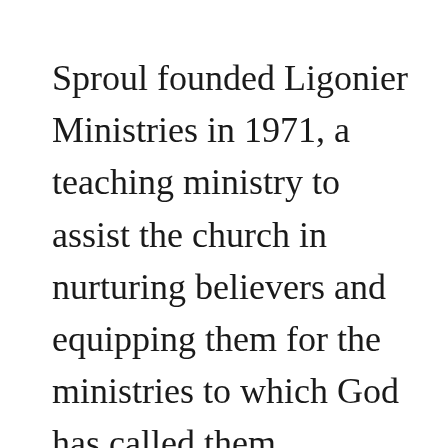Sproul founded Ligonier Ministries in 1971, a teaching ministry to assist the church in nurturing believers and equipping them for the ministries to which God has called them. Ligonier sponsors a radio program, “Renewing Your Mind,”